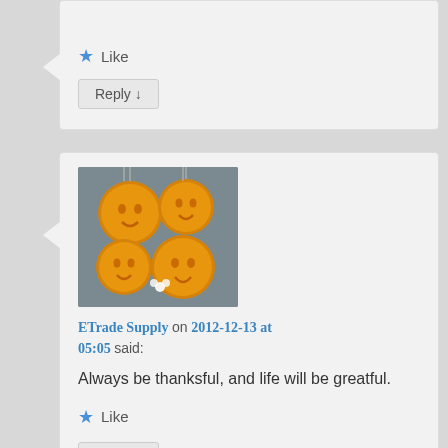Reply ↓
[Figure (photo): Avatar image showing smiley face cookies/decorations in orange/yellow tones]
ETrade Supply on 2012-12-13 at 05:05 said:
Always be thanksful, and life will be greatful.
★ Like
Reply ↓
[Figure (photo): Partial avatar image of a person with blonde hair]